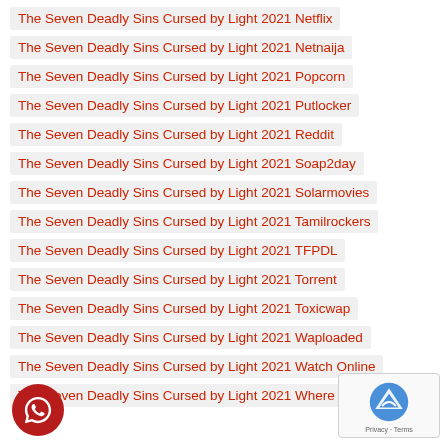The Seven Deadly Sins Cursed by Light 2021 Netflix
The Seven Deadly Sins Cursed by Light 2021 Netnaija
The Seven Deadly Sins Cursed by Light 2021 Popcorn
The Seven Deadly Sins Cursed by Light 2021 Putlocker
The Seven Deadly Sins Cursed by Light 2021 Reddit
The Seven Deadly Sins Cursed by Light 2021 Soap2day
The Seven Deadly Sins Cursed by Light 2021 Solarmovies
The Seven Deadly Sins Cursed by Light 2021 Tamilrockers
The Seven Deadly Sins Cursed by Light 2021 TFPDL
The Seven Deadly Sins Cursed by Light 2021 Torrent
The Seven Deadly Sins Cursed by Light 2021 Toxicwap
The Seven Deadly Sins Cursed by Light 2021 Waploaded
The Seven Deadly Sins Cursed by Light 2021 Watch Online
The Seven Deadly Sins Cursed by Light 2021 Where to Watch